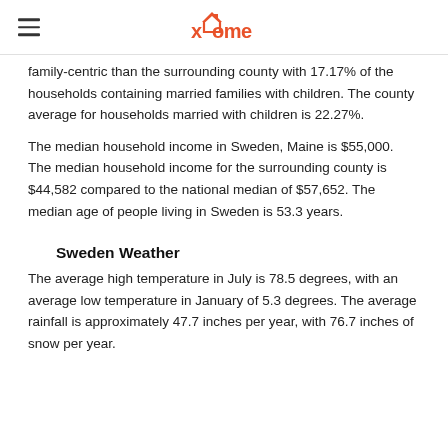xome
family-centric than the surrounding county with 17.17% of the households containing married families with children. The county average for households married with children is 22.27%.
The median household income in Sweden, Maine is $55,000. The median household income for the surrounding county is $44,582 compared to the national median of $57,652. The median age of people living in Sweden is 53.3 years.
Sweden Weather
The average high temperature in July is 78.5 degrees, with an average low temperature in January of 5.3 degrees. The average rainfall is approximately 47.7 inches per year, with 76.7 inches of snow per year.